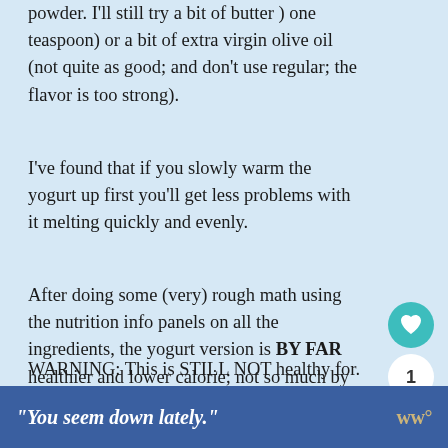powder. I'll still try a bit of butter ) one teaspoon) or a bit of extra virgin olive oil (not quite as good; and don't use regular; the flavor is too strong).
I've found that if you slowly warm the yogurt up first you'll get less problems with it melting quickly and evenly.
After doing some (very) rough math using the nutrition info panels on all the ingredients, the yogurt version is BY FAR healthier and lower calorie; not so much by what it adds, but for the "less-than-good-for-you-stuff" it leaves out.
WARNING: This is STILL NOT healthy for...
[Figure (other): Advertisement banner with dark blue background reading 'You seem down lately.' in italic white text with a logo on the right]